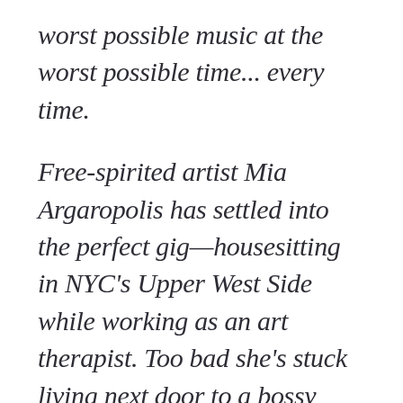worst possible music at the worst possible time... every time.
Free-spirited artist Mia Argaropolis has settled into the perfect gig—housesitting in NYC's Upper West Side while working as an art therapist. Too bad she's stuck living next door to a bossy control freak with a penchant for calling building security